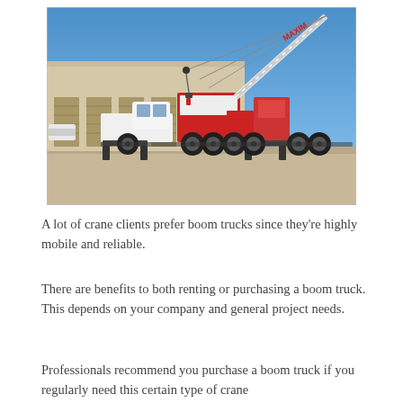[Figure (photo): A large white mobile crane truck (branded MAXIM) with an extended boom arm raised diagonally, parked in front of a commercial building with garage doors. The crane sits on a heavy multi-axle truck chassis. Clear blue sky in the background.]
A lot of crane clients prefer boom trucks since they're highly mobile and reliable.
There are benefits to both renting or purchasing a boom truck. This depends on your company and general project needs.
Professionals recommend you purchase a boom truck if you regularly need this certain type of crane